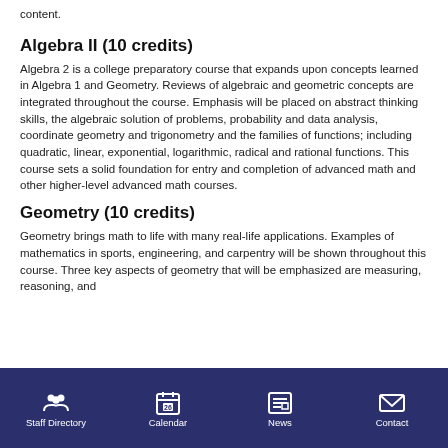content.
Algebra II (10 credits)
Algebra 2 is a college preparatory course that expands upon concepts learned in Algebra 1 and Geometry. Reviews of algebraic and geometric concepts are integrated throughout the course. Emphasis will be placed on abstract thinking skills, the algebraic solution of problems, probability and data analysis, coordinate geometry and trigonometry and the families of functions; including quadratic, linear, exponential, logarithmic, radical and rational functions. This course sets a solid foundation for entry and completion of advanced math and other higher-level advanced math courses.
Geometry (10 credits)
Geometry brings math to life with many real-life applications. Examples of mathematics in sports, engineering, and carpentry will be shown throughout this course. Three key aspects of geometry that will be emphasized are measuring, reasoning, and
Staff Directory | Calendar | News | Contact